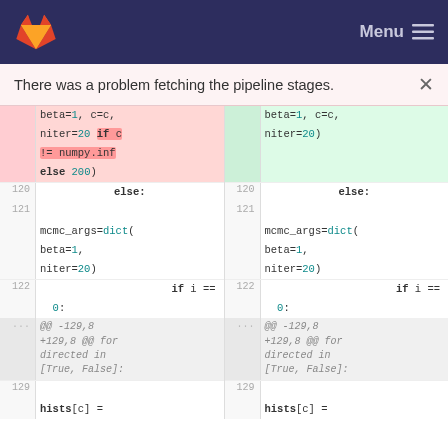GitLab header with Menu
There was a problem fetching the pipeline stages.
[Figure (screenshot): Side-by-side code diff view showing Python code changes. Left panel shows deleted version with highlighted removal of 'if c != numpy.inf else 200' conditional. Right panel shows added version with simplified niter=20. Both panels show line numbers 120-129 with mcmc_args=dict(beta=1, niter=20) and if i == 0: blocks, followed by hunk header @@ -129,8 +129,8 @@ for directed in [True, False]: and line 129 with hists[c] =]